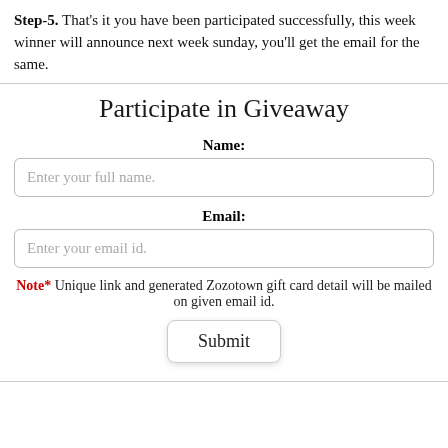Step-5. That's it you have been participated successfully, this week winner will announce next week sunday, you'll get the email for the same.
Participate in Giveaway
Name:
Enter your full name.
Email:
Enter your email id.
Note* Unique link and generated Zozotown gift card detail will be mailed on given email id.
Submit